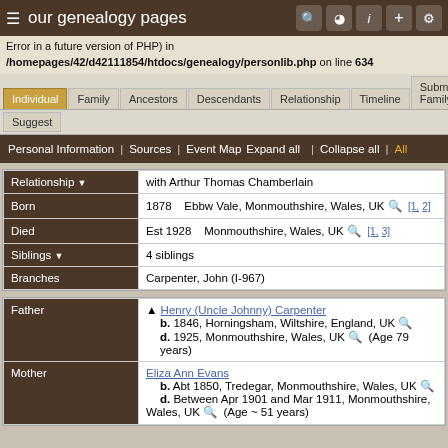our genealogy pages
Error in a future version of PHP) in /homepages/42/d42111854/htdocs/genealogy/personlib.php on line 634
Individual | Family | Ancestors | Descendants | Relationship | Timeline | Submit Family | Suggest
Personal Information | Sources | Event Map | Expand all | Collapse all | All
| Field | Value |
| --- | --- |
| Relationship ▼ | with Arthur Thomas Chamberlain |
| Born | 1878 | Ebbw Vale, Monmouthshire, Wales, UK 🔍 [1, 2] |
| Died | Est 1928 | Monmouthshire, Wales, UK 🔍 [1, 3] |
| Siblings ▼ | 4 siblings |
| Branches | Carpenter, John (I-967) |
| Field | Value |
| --- | --- |
| Father | Henry (Uncle Johnny) Carpenter
b. 1846, Horningsham, Wiltshire, England, UK 🔍
d. 1925, Monmouthshire, Wales, UK 🔍 (Age 79 years) |
| Mother | Eliza Ann Evans
b. Abt 1850, Tredegar, Monmouthshire, Wales, UK 🔍
d. Between Apr 1901 and Mar 1911, Monmouthshire, Wales, UK 🔍 (Age ~ 51 years) |